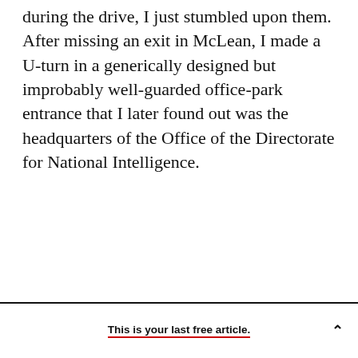during the drive, I just stumbled upon them. After missing an exit in McLean, I made a U-turn in a generically designed but improbably well-guarded office-park entrance that I later found out was the headquarters of the Office of the Directorate for National Intelligence.
This is your last free article.